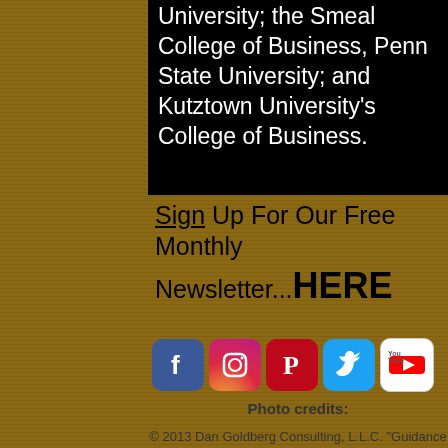University; the Smeal College of Business, Penn State University; and Kutztown University's College of Business.
Sign Up For Our Free Monthly Newsletter...HERE
[Figure (infographic): Row of 5 social media icons: Facebook (blue), Instagram (gradient), Pinterest (red), Twitter (light blue), YouTube (white with red logo)]
Photo credits:
© 2013 Dan Goldberg Consulting, L.L.C. "Guidance for Growth"™
[Figure (logo): Emmcar photography logo with script flourish above stylized text]